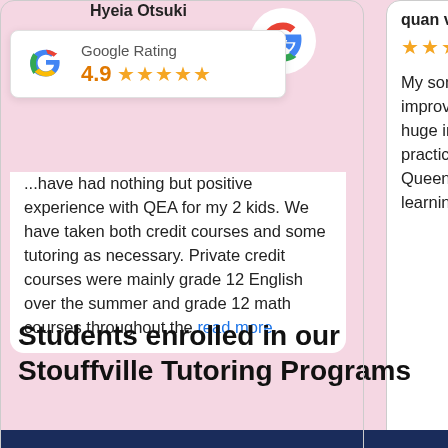Hyeia Otsuki
[Figure (infographic): Google Rating badge showing 4.9 stars with 5 orange stars]
...have had nothing but positive experience with QEA for my 2 kids. We have taken both credit courses and some tutoring as necessary. Private credit courses were mainly grade 12 English over the summer and grade 12 math courses throughout the read more
quan van
My son took a Queens Elizab improve his ab During this mo huge improve mindset of lea practicing his s incredible. Hu Queens Elizab helping my so learning abiliti
Students enrolled in our Stouffville Tutoring Programs